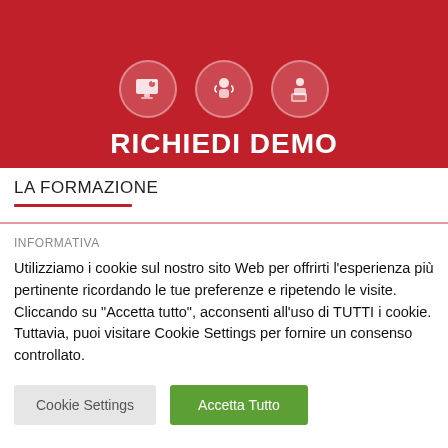[Figure (illustration): Red banner with three circular icons (monitor/screen, person with headset, person with laptop) and bold white text 'RICHIEDI DEMO']
LA FORMAZIONE
INFORMATIVA
Utilizziamo i cookie sul nostro sito Web per offrirti l'esperienza più pertinente ricordando le tue preferenze e ripetendo le visite. Cliccando su "Accetta tutto", acconsenti all'uso di TUTTI i cookie. Tuttavia, puoi visitare Cookie Settings per fornire un consenso controllato.
Cookie Settings | Accetta Tutto